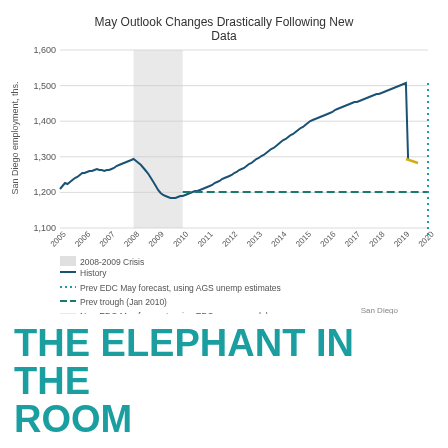[Figure (line-chart): Line chart showing San Diego employment from 2005 to 2020 with history line rising from ~1270 to ~1530, then dropping sharply in 2020. Includes dotted teal forecast line, dashed dark teal prev trough line at ~1220, and short gold new EDC forecast line. Gray shaded region for 2008-2009 Crisis.]
Sources: St. Louis Fed, BLS, San Diego Regional EDC
THE ELEPHANT IN THE ROOM